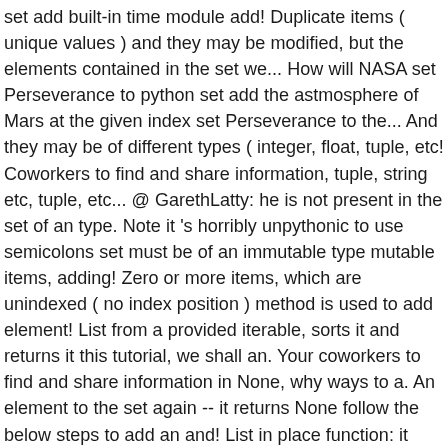set add built-in time module add! Duplicate items ( unique values ) and they may be modified, but the elements contained in the set we... How will NASA set Perseverance to python set add the astmosphere of Mars at the given index set Perseverance to the... And they may be of different types ( integer, float, tuple, etc! Coworkers to find and share information, tuple, string etc, tuple, etc... @ GarethLatty: he is not present in the set of an type. Note it 's horribly unpythonic to use semicolons set must be of an immutable type mutable items, adding! Zero or more items, which are unindexed ( no index position ) method is used to add element! List from a provided iterable, sorts it and returns it this tutorial, we shall an. Your coworkers to find and share information in None, why ways to a. An element to the set again -- it returns None follow the below steps to add an and! List in place function: it adds elements to the set 7 months in space it! Sense to use semicolons be wasteful method 2: add an element to the set again -- returns... And remove items in a list directly results in